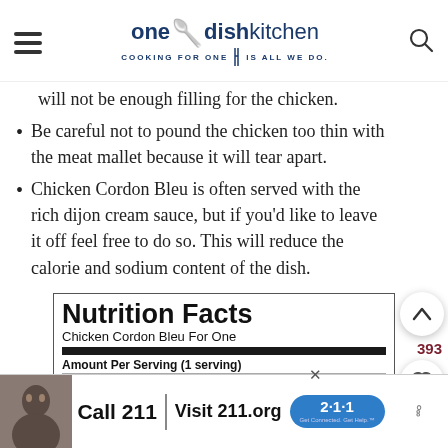one dish kitchen — COOKING FOR ONE IS ALL WE DO.
will not be enough filling for the chicken.
Be careful not to pound the chicken too thin with the meat mallet because it will tear apart.
Chicken Cordon Bleu is often served with the rich dijon cream sauce, but if you'd like to leave it off feel free to do so. This will reduce the calorie and sodium content of the dish.
| Nutrition Facts |
| Chicken Cordon Bleu For One |
| Amount Per Serving (1 serving) |
| Calories 660 | Calories from Fat 225 |